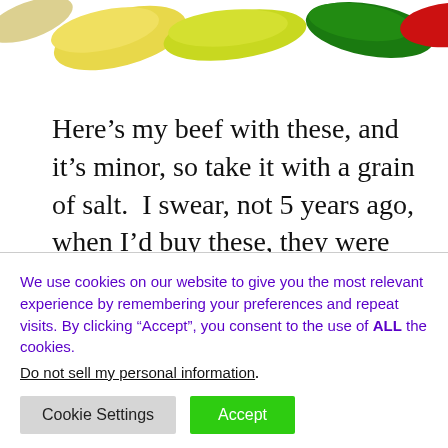[Figure (photo): Colorful candy pieces (gummy bears or jelly beans) in yellow, green, red, and other colors partially visible at the top of the page]
Here’s my beef with these, and it’s minor, so take it with a grain of salt.  I swear, not 5 years ago, when I’d buy these, they were the large letter size, not the stunted at birth
We use cookies on our website to give you the most relevant experience by remembering your preferences and repeat visits. By clicking “Accept”, you consent to the use of ALL the cookies.
Do not sell my personal information.